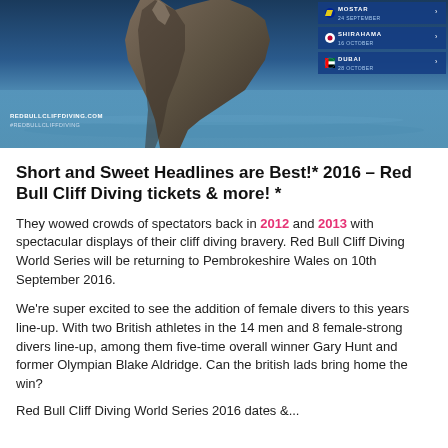[Figure (photo): Red Bull Cliff Diving banner image showing rocky cliffs over blue water, with a schedule panel on the right showing Mostar (24 September), Shirahama (16 October), and Dubai (28 October) events, and RedBullCliffDiving.com text on the lower left.]
Short and Sweet Headlines are Best!* 2016 – Red Bull Cliff Diving tickets & more! *
They wowed crowds of spectators back in 2012 and 2013 with spectacular displays of their cliff diving bravery. Red Bull Cliff Diving World Series will be returning to Pembrokeshire Wales on 10th September 2016.
We're super excited to see the addition of female divers to this years line-up. With two British athletes in the 14 men and 8 female-strong divers line-up, among them five-time overall winner Gary Hunt and former Olympian Blake Aldridge. Can the british lads bring home the win?
Red Bull Cliff Diving World Series 2016 dates &...